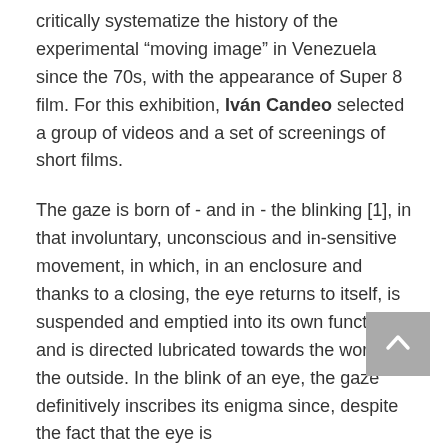critically systematize the history of the experimental “moving image” in Venezuela since the 70s, with the appearance of Super 8 film. For this exhibition, Iván Candeo selected a group of videos and a set of screenings of short films.
The gaze is born of - and in - the blinking [1], in that involuntary, unconscious and in-sensitive movement, in which, in an enclosure and thanks to a closing, the eye returns to itself, is suspended and emptied into its own function, and is directed lubricated towards the world, the outside. In the blink of an eye, the gaze definitively inscribes its enigma since, despite the fact that the eye is